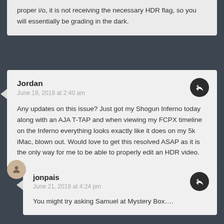proper i/o, it is not receiving the necessary HDR flag, so you will essentially be grading in the dark.
Jordan
June 19, 2018 at 2:40 am

Any updates on this issue? Just got my Shogun Inferno today along with an AJA T-TAP and when viewing my FCPX timeline on the Inferno everything looks exactly like it does on my 5k iMac, blown out. Would love to get this resolved ASAP as it is the only way for me to be able to properly edit an HDR video.
jonpais
June 21, 2018 at 4:24 pm

You might try asking Samuel at Mystery Box....